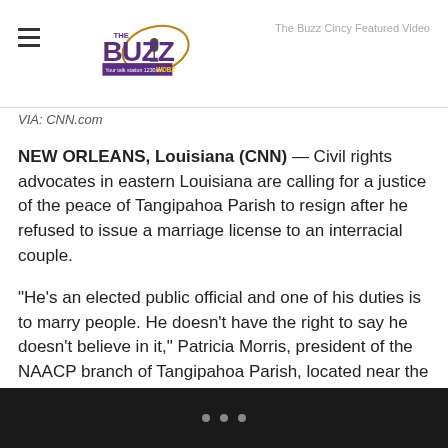The Buzz Cincy Featured Video
[Figure (logo): The Buzz WDBZ 1230am radio station logo with microphone graphic and purple/gold text]
VIA: CNN.com
NEW ORLEANS, Louisiana (CNN) — Civil rights advocates in eastern Louisiana are calling for a justice of the peace of Tangipahoa Parish to resign after he refused to issue a marriage license to an interracial couple.
“He’s an elected public official and one of his duties is to marry people. He doesn’t have the right to say he doesn’t believe in it,” Patricia Morris, president of the NAACP branch of Tangipahoa Parish, located near the Mississippi line, said Thursday.
• • •